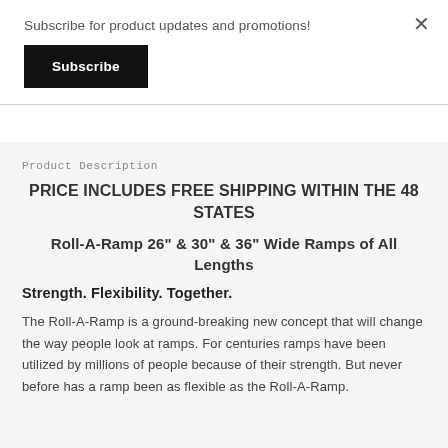Subscribe for product updates and promotions!
Subscribe
Product Description
PRICE INCLUDES FREE SHIPPING WITHIN THE 48 STATES
Roll-A-Ramp 26" & 30" & 36" Wide Ramps of All Lengths
Strength. Flexibility. Together.
The Roll-A-Ramp is a ground-breaking new concept that will change the way people look at ramps. For centuries ramps have been utilized by millions of people because of their strength. But never before has a ramp been as flexible as the Roll-A-Ramp.